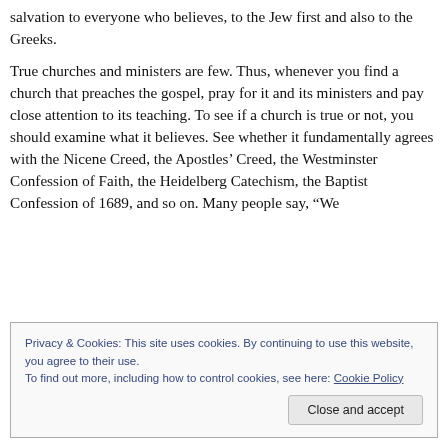salvation to everyone who believes, to the Jew first and also to the Greeks.
True churches and ministers are few. Thus, whenever you find a church that preaches the gospel, pray for it and its ministers and pay close attention to its teaching. To see if a church is true or not, you should examine what it believes. See whether it fundamentally agrees with the Nicene Creed, the Apostles' Creed, the Westminster Confession of Faith, the Heidelberg Catechism, the Baptist Confession of 1689, and so on. Many people say, “We
Privacy & Cookies: This site uses cookies. By continuing to use this website, you agree to their use.
To find out more, including how to control cookies, see here: Cookie Policy